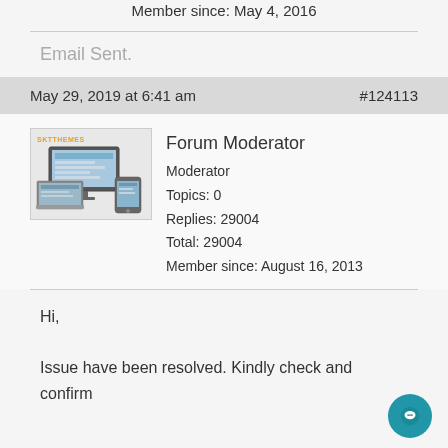Member since: May 4, 2016
Email Sent.
May 29, 2019 at 6:41 am   #124113
[Figure (screenshot): Forum Moderator avatar with SKTTHEMES logo and device illustration]
Forum Moderator
Moderator
Topics: 0
Replies: 29004
Total: 29004
Member since: August 16, 2013
Hi,

Issue have been resolved. Kindly check and confirm